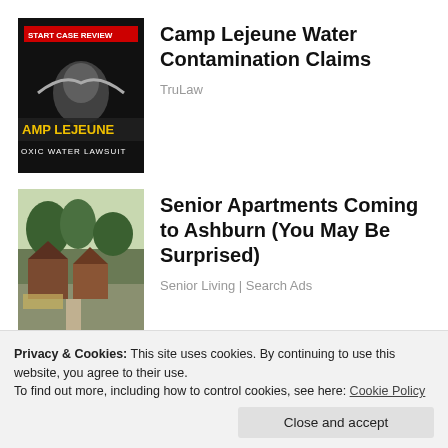[Figure (photo): Camp Lejeune Toxic Water Lawsuit advertisement thumbnail — dark background with eagle emblem and yellow text reading CAMP LEJEUNE TOXIC WATER LAWSUIT]
Camp Lejeune Water Contamination Claims
TruLaw
[Figure (photo): Photo of senior apartment bungalows — brown wooden cottage-style buildings with walkway and garden]
Senior Apartments Coming to Ashburn (You May Be Surprised)
Senior Living | Search Ads
[Figure (photo): Partial view of suburban homes — beige siding rooftops visible at bottom of page]
Privacy & Cookies: This site uses cookies. By continuing to use this website, you agree to their use.
To find out more, including how to control cookies, see here: Cookie Policy
Close and accept